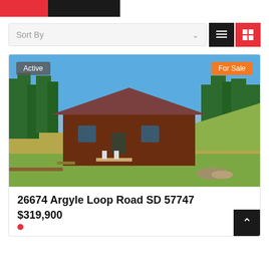Sort By
[Figure (photo): Exterior photo of a log cabin with a red metal roof surrounded by pine trees and open grassland, under a clear blue sky. A firepit area is visible in the foreground.]
Active
For Sale
26674 Argyle Loop Road SD 57747
$319,900